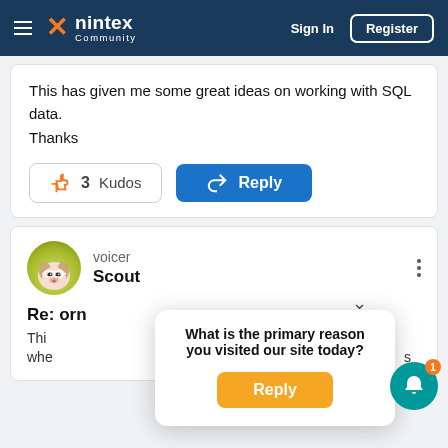nintex Community — Sign In | Register
This has given me some great ideas on working with SQL data.
Thanks
3 Kudos  Reply
voicer
Scout
Re: orm
This ... whe ... s
What is the primary reason you visited our site today?
Reply